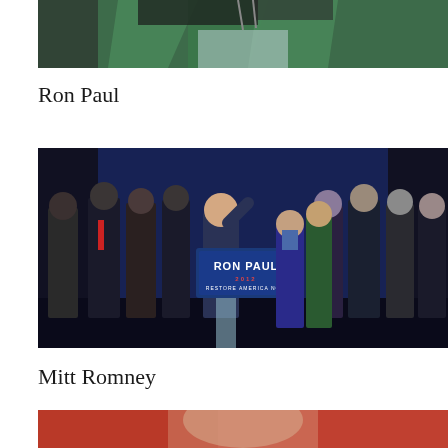[Figure (photo): Top portion of a photo showing someone in green surgical or ceremonial gown at a podium with microphones]
Ron Paul
[Figure (photo): Ron Paul speaking at a podium with a 'RON PAUL 2012 RESTORE AMERICA NOW' sign, surrounded by supporters on a stage]
Mitt Romney
[Figure (photo): Bottom portion of a photo showing Mitt Romney, partially cropped]